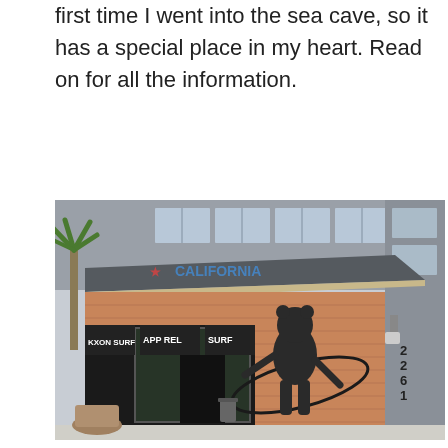first time I went into the sea cave, so it has a special place in my heart. Read on for all the information.
[Figure (photo): Exterior of a surf apparel shop at address 2261. The storefront has brick facade with a large mural of a bear holding a surfboard painted on the wall. Signs read 'APPAREL' and 'SURF'. A palm tree is visible on the left, and the building has gray modern upper floors with windows.]